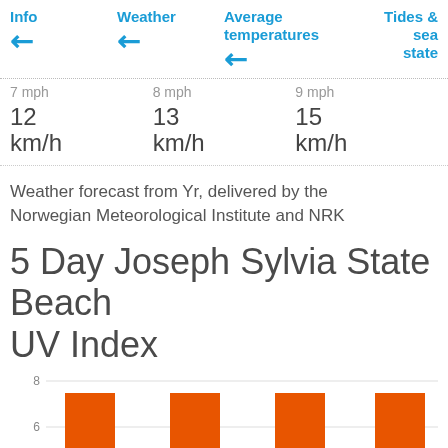[Figure (other): Navigation row with Info, Weather, Average temperatures, Tides & sea state tab headers, each with an upward-left arrow icon]
| 7 mph | 8 mph | 9 mph |
| 12 | 13 | 15 |
| km/h | km/h | km/h |
Weather forecast from Yr, delivered by the Norwegian Meteorological Institute and NRK
5 Day Joseph Sylvia State Beach UV Index
[Figure (bar-chart): 5 Day Joseph Sylvia State Beach UV Index]